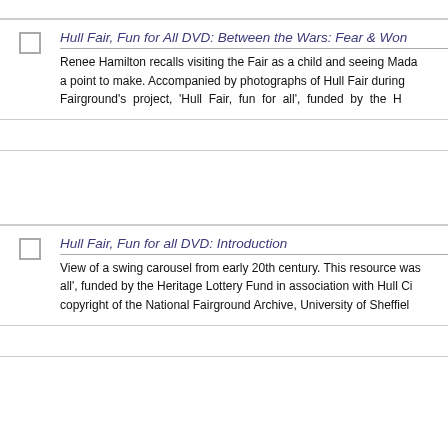Hull Fair, Fun for All DVD: Between the Wars: Fear & Won...
Renee Hamilton recalls visiting the Fair as a child and seeing Madam... a point to make. Accompanied by photographs of Hull Fair during... Fairground's project, 'Hull Fair, fun for all', funded by the H...
Hull Fair, Fun for all DVD: Introduction
View of a swing carousel from early 20th century. This resource was... all', funded by the Heritage Lottery Fund in association with Hull Ci... copyright of the National Fairground Archive, University of Sheffiel...